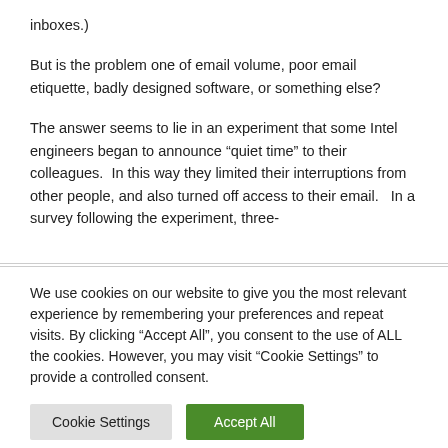inboxes.)
But is the problem one of email volume, poor email etiquette, badly designed software, or something else?
The answer seems to lie in an experiment that some Intel engineers began to announce “quiet time” to their colleagues.  In this way they limited their interruptions from other people, and also turned off access to their email.   In a survey following the experiment, three-
We use cookies on our website to give you the most relevant experience by remembering your preferences and repeat visits. By clicking “Accept All”, you consent to the use of ALL the cookies. However, you may visit “Cookie Settings” to provide a controlled consent.
Cookie Settings
Accept All